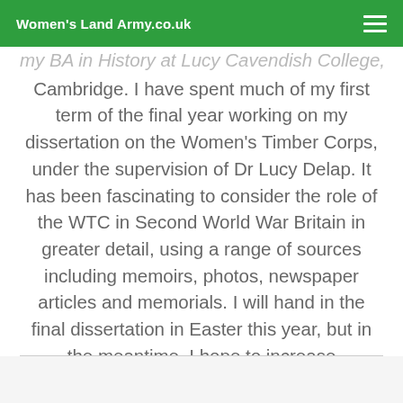Women's Land Army.co.uk
my BA in History at Lucy Cavendish College, Cambridge. I have spent much of my first term of the final year working on my dissertation on the Women's Timber Corps, under the supervision of Dr Lucy Delap. It has been fascinating to consider the role of the WTC in Second World War Britain in greater detail, using a range of sources including memoirs, photos, newspaper articles and memorials. I will hand in the final dissertation in Easter this year, but in the meantime, I hope to increase information on the WTC pages of this site.